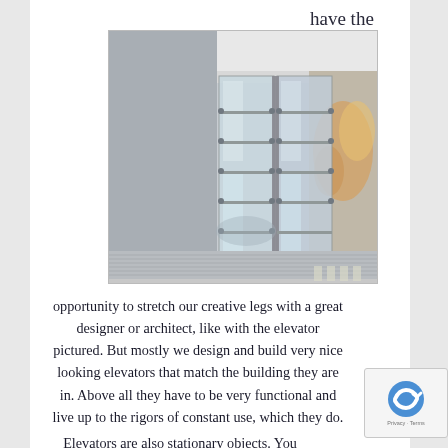have the
[Figure (photo): Exterior photo of a glass elevator structure with reflective glass panels, metal hardware, and a wooden deck floor. Colorful mural visible on the right side of the building.]
opportunity to stretch our creative legs with a great designer or architect, like with the elevator pictured. But mostly we design and build very nice looking elevators that match the building they are in. Above all they have to be very functional and live up to the rigors of constant use, which they do.
Elevators are also stationary objects. You don't see